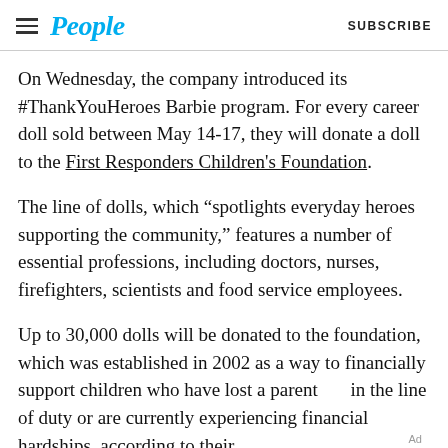People | SUBSCRIBE
On Wednesday, the company introduced its #ThankYouHeroes Barbie program. For every career doll sold between May 14-17, they will donate a doll to the First Responders Children's Foundation.
The line of dolls, which “spotlights everyday heroes supporting the community,” features a number of essential professions, including doctors, nurses, firefighters, scientists and food service employees.
Up to 30,000 dolls will be donated to the foundation, which was established in 2002 as a way to financially support children who have lost a parent in the line of duty or are currently experiencing financial hardships, according to their